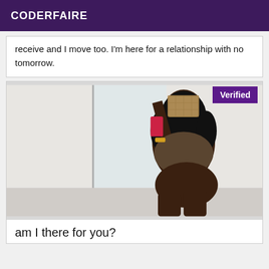CODERFAIRE
receive and I move too. I'm here for a relationship with no tomorrow.
[Figure (photo): Mirror selfie of a woman in a bathroom, face obscured. A 'Verified' badge appears in the top right corner.]
am I there for you?